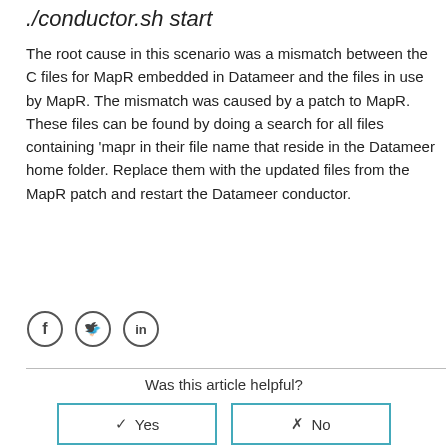./conductor.sh start
The root cause in this scenario was a mismatch between the C files for MapR embedded in Datameer and the files in use by MapR. The mismatch was caused by a patch to MapR. These files can be found by doing a search for all files containing 'mapr in their file name that reside in the Datameer home folder. Replace them with the updated files from the MapR patch and restart the Datameer conductor.
[Figure (other): Social media icons: Facebook, Twitter, LinkedIn]
Was this article helpful?
✓ Yes   ✗ No
0 out of 0 found this helpful